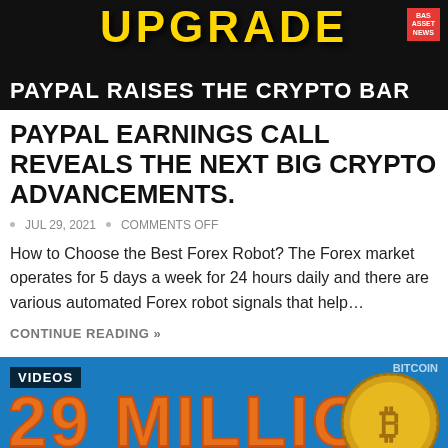[Figure (screenshot): Top banner image showing a dark background with 'UPGRADE' text in yellow/gold large letters and a person on the left side. Bottom bar reads 'PAYPAL RAISES THE CRYPTO BAR' in white on black. Small red badge with logo visible top right.]
PAYPAL EARNINGS CALL REVEALS THE NEXT BIG CRYPTO ADVANCEMENTS.
JUL 29, 2021  •  COMMENTS OFF
How to Choose the Best Forex Robot? The Forex market operates for 5 days a week for 24 hours daily and there are various automated Forex robot signals that help…
CONTINUE READING »
[Figure (screenshot): Blue background banner with 'VIDEOS' badge top left, large orange text '29 MILLION', Bitcoin gold coin on right, and PayPal logo partially visible at bottom.]